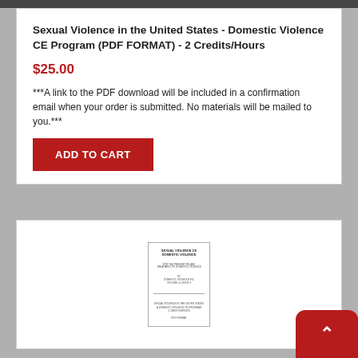Sexual Violence in the United States - Domestic Violence CE Program (PDF FORMAT) - 2 Credits/Hours
$25.00
***A link to the PDF download will be included in a confirmation email when your order is submitted. No materials will be mailed to you.***
[Figure (other): Screenshot of a product page with an ADD TO CART button in red]
[Figure (photo): Thumbnail image of a book/document cover for a Domestic Violence CE Program]